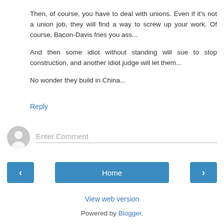Then, of course, you have to deal with unions. Even if it's not a union job, they will find a way to screw up your work. Of course, Bacon-Davis fries you ass...
And then some idiot without standing will sue to stop construction, and another idiot judge will let them...
No wonder they build in China...
Reply
Enter Comment
Home
View web version
Powered by Blogger.